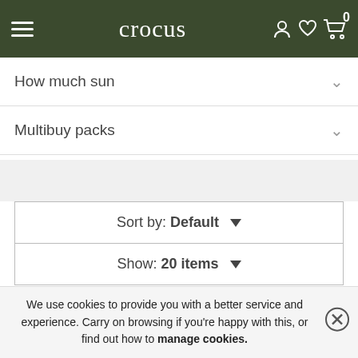crocus
How much sun
Multibuy packs
Sort by: Default
Show: 20 items
[Figure (photo): Green plant/flower photography against dark wooden fence background with white heart/wishlist icon overlay]
We use cookies to provide you with a better service and experience. Carry on browsing if you're happy with this, or find out how to manage cookies.